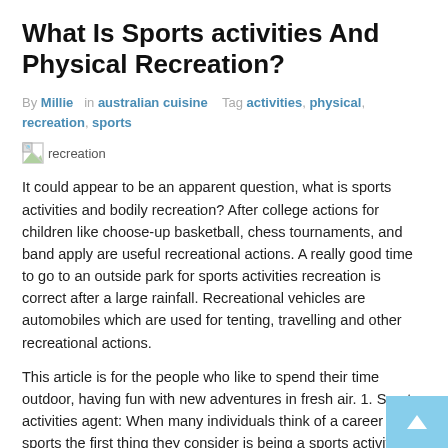What Is Sports activities And Physical Recreation?
By Millie  in australian cuisine   Tag activities, physical, recreation, sports
[Figure (photo): Small broken image icon with alt text 'recreation']
It could appear to be an apparent question, what is sports activities and bodily recreation? After college actions for children like choose-up basketball, chess tournaments, and band apply are useful recreational actions. A really good time to go to an outside park for sports activities recreation is correct after a large rainfall. Recreational vehicles are automobiles which are used for tenting, travelling and other recreational actions.
This article is for the people who like to spend their time outdoor, having fun with new adventures in fresh air. 1. Sports activities agent: When many individuals think of a career in sports the first thing they consider is being a sports activities